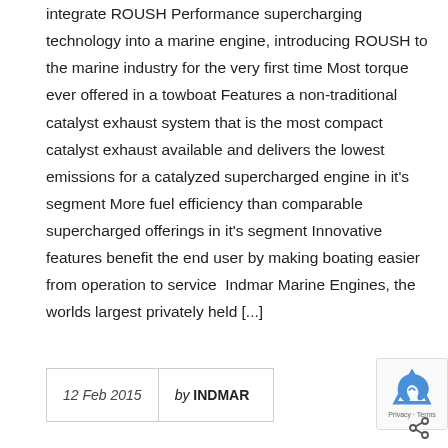integrate ROUSH Performance supercharging technology into a marine engine, introducing ROUSH to the marine industry for the very first time Most torque ever offered in a towboat Features a non-traditional catalyst exhaust system that is the most compact catalyst exhaust available and delivers the lowest emissions for a catalyzed supercharged engine in it's segment More fuel efficiency than comparable supercharged offerings in it's segment Innovative features benefit the end user by making boating easier from operation to service  Indmar Marine Engines, the worlds largest privately held [...]
12 Feb 2015  by INDMAR